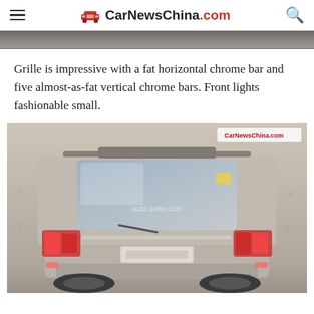CarNewsChina.com
[Figure (photo): Partial top strip of a car photo (cropped at top of page)]
Grille is impressive with a fat horizontal chrome bar and five almost-as-fat vertical chrome bars. Front lights fashionable small.
[Figure (photo): Rear view spy shot of a silver/grey SUV (appears to be a Chinese market vehicle), watermarked with auto.sohu.com and CarNewsChina.com]